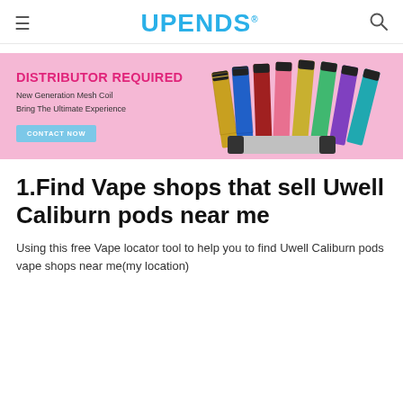UPENDS
[Figure (infographic): Pink banner advertisement for UPENDS: DISTRIBUTOR REQUIRED, New Generation Mesh Coil, Bring The Ultimate Experience, CONTACT NOW button, with colorful vape stick products on the right]
1.Find Vape shops that sell Uwell Caliburn pods near me
Using this free Vape locator tool to help you to find Uwell Caliburn pods vape shops near me(my location)